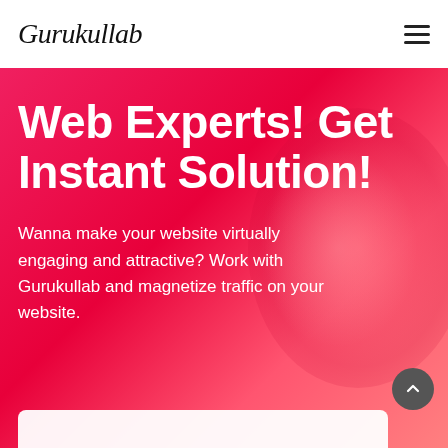Gurukullab
Web Experts! Get Instant Solution!
Wanna make your website virtually engaging and attractive? Work with Gurukullab and magnetize traffic on your website.